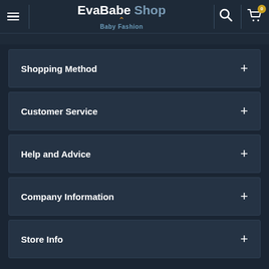EvaBabe Shop Baby Fashion
Shopping Method
Customer Service
Help and Advice
Company Information
Store Info
EvaBabe Shop Baby Fashion